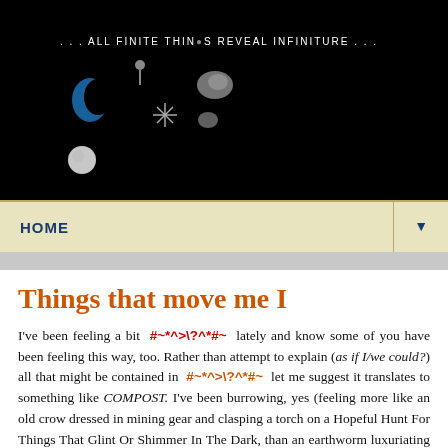[Figure (illustration): Black banner header with text '...ALL FINITE THINGS REVEAL INFINITURE...' and decorative space/nature objects (blue crescent, snowflake, rocks, sphere)]
HOME ▼
Things that move me I
I've been feeling a bit #~*^>\?^*#~ lately and know some of you have been feeling this way, too. Rather than attempt to explain (as if I/we could?) all that might be contained in #~*^>\?^*#~ let me suggest it translates to something like COMPOST. I've been burrowing, yes (feeling more like an old crow dressed in mining gear and clasping a torch on a Hopeful Hunt For Things That Glint Or Shimmer In The Dark, than an earthworm luxuriating in its native soil). So